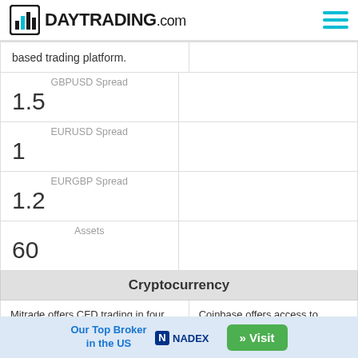DAYTRADING.com
| based trading platform. |  |
| GBPUSD Spread
1.5 |  |
| EURUSD Spread
1 |  |
| EURGBP Spread
1.2 |  |
| Assets
60 |  |
| Cryptocurrency | Cryptocurrency |
| Mitrade offers CFD trading in four major cryptocurrencies | Coinbase offers access to almost 4000 digital coins. It the |